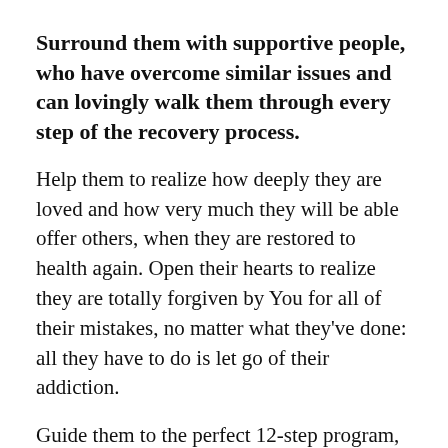Surround them with supportive people, who have overcome similar issues and can lovingly walk them through every step of the recovery process.
Help them to realize how deeply they are loved and how very much they will be able offer others, when they are restored to health again. Open their hearts to realize they are totally forgiven by You for all of their mistakes, no matter what they've done: all they have to do is let go of their addiction.
Guide them to the perfect 12-step program, along with doctors and counsellors to address all their medical needs on their path to wellness.
Give them hope in You and a vision for a